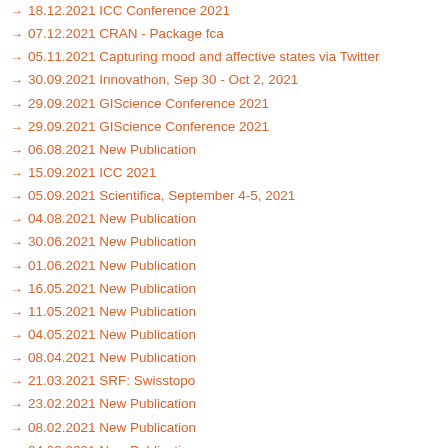18.12.2021 ICC Conference 2021
07.12.2021 CRAN - Package fca
05.11.2021 Capturing mood and affective states via Twitter
30.09.2021 Innovathon, Sep 30 - Oct 2, 2021
29.09.2021 GIScience Conference 2021
29.09.2021 GIScience Conference 2021
06.08.2021 New Publication
15.09.2021 ICC 2021
05.09.2021 Scientifica, September 4-5, 2021
04.08.2021 New Publication
30.06.2021 New Publication
01.06.2021 New Publication
16.05.2021 New Publication
11.05.2021 New Publication
04.05.2021 New Publication
08.04.2021 New Publication
21.03.2021 SRF: Swisstopo
23.02.2021 New Publication
08.02.2021 New Publication
04.02.2021 New Publication
22.12.2020 Ist das Navi in der Hand der erste Schritt zum betreuten Wohnen?